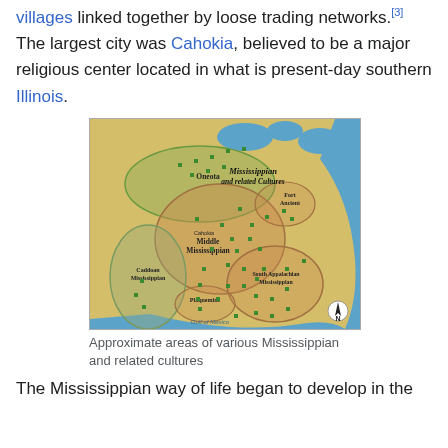villages linked together by loose trading networks.[3] The largest city was Cahokia, believed to be a major religious center located in what is present-day southern Illinois.
[Figure (map): Map showing approximate areas of various Mississippian and related cultures including Middle Mississippian, Cahokia, Oneota, Fort Ancient, South Appalachian Mississippian, Caddoan Mississippian, and Plaquemine regions across eastern North America.]
Approximate areas of various Mississippian and related cultures
The Mississippian way of life began to develop in the